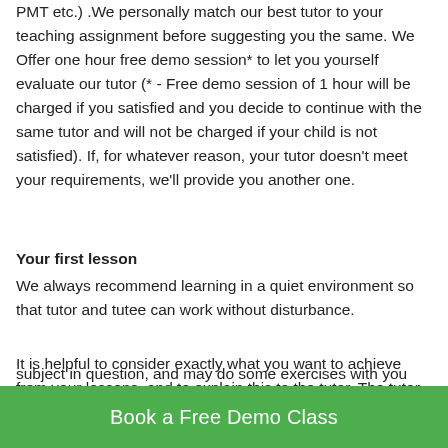PMT etc.) .We personally match our best tutor to your teaching assignment before suggesting you the same. We Offer one hour free demo session* to let you yourself evaluate our tutor (* - Free demo session of 1 hour will be charged if you satisfied and you decide to continue with the same tutor and will not be charged if your child is not satisfied). If, for whatever reason, your tutor doesn't meet your requirements, we'll provide you another one.
Your first lesson
We always recommend learning in a quiet environment so that tutor and tutee can work without disturbance.
It is helpful to consider exactly what you want to achieve from your lessons, and to explain this to the tutor. The tutor
subject in question, and may do some exercises with you
[Figure (other): Green call-to-action button with white text reading 'Book a Free Demo Class']